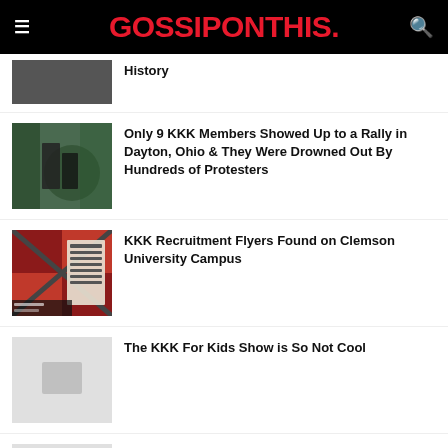GOSSIPONTHIS.
History
Only 9 KKK Members Showed Up to a Rally in Dayton, Ohio & They Were Drowned Out By Hundreds of Protesters
KKK Recruitment Flyers Found on Clemson University Campus
The KKK For Kids Show is So Not Cool
Alabama Attorney General Bill Baxley to Ku Klux Klan Leader: “Kiss My Ass”